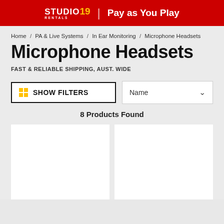STUDIO19 RENTALS | Pay as You Play
Home / PA & Live Systems / In Ear Monitoring / Microphone Headsets
Microphone Headsets
FAST & RELIABLE SHIPPING, AUST. WIDE
SHOW FILTERS
Name
8 Products Found
[Figure (other): Two white product card placeholders in a two-column grid layout]